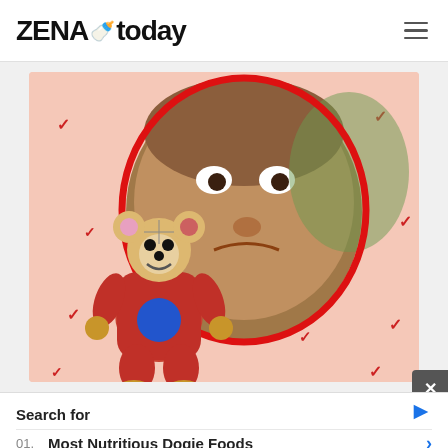ZENA today
[Figure (photo): A young boy making a funny face inside an oval red-framed circle, with a colorful teddy bear toy in the foreground, on a pink background with red checkmarks scattered around]
Search for
01.  Most Nutritious Dogie Foods
02.  Sleep Apnea Treatments Options
Yahoo! Search | Sponsored